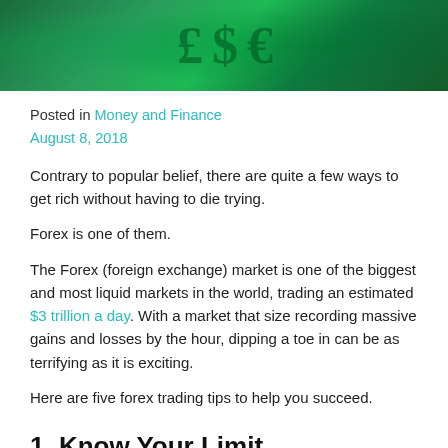[Figure (photo): Hero image with green-tinted financial symbols including currency signs (£, $) and chart lines on a dark green background]
Posted in Money and Finance
August 8, 2018
Contrary to popular belief, there are quite a few ways to get rich without having to die trying.
Forex is one of them.
The Forex (foreign exchange) market is one of the biggest and most liquid markets in the world, trading an estimated $3 trillion a day. With a market that size recording massive gains and losses by the hour, dipping a toe in can be as terrifying as it is exciting.
Here are five forex trading tips to help you succeed.
1. Know Your Limit
Think of entering the forex trading market like entering a casino. You're going to lose money and you're hopefully going to gain money, but in the end, you have to know when to cash out.